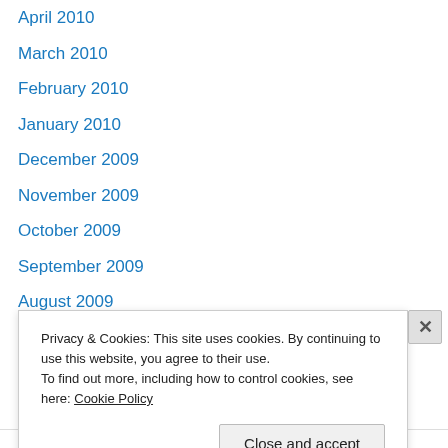April 2010
March 2010
February 2010
January 2010
December 2009
November 2009
October 2009
September 2009
August 2009
July 2009
June 2009
May 2009
April 2009
March 2009
Privacy & Cookies: This site uses cookies. By continuing to use this website, you agree to their use.
To find out more, including how to control cookies, see here: Cookie Policy
Close and accept